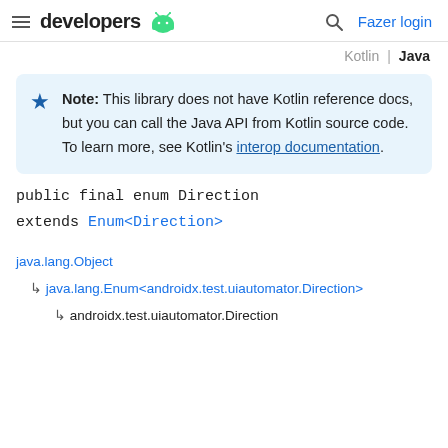developers   [android logo]   [search icon]   Fazer login
Kotlin | Java
Note: This library does not have Kotlin reference docs, but you can call the Java API from Kotlin source code. To learn more, see Kotlin's interop documentation.
java.lang.Object
  ↳ java.lang.Enum<androidx.test.uiautomator.Direction>
    ↳ androidx.test.uiautomator.Direction